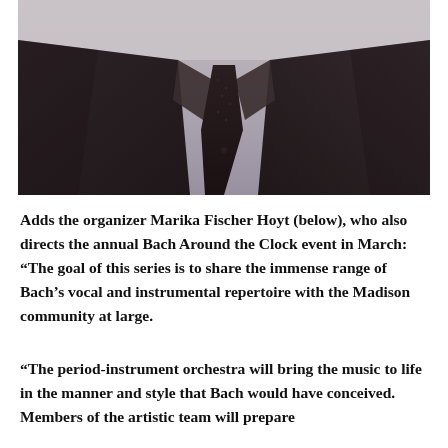[Figure (photo): A man in a dark suit jacket and dark knit tie against a light background, photographed from the chest/torso up, face not visible in frame]
Adds the organizer Marika Fischer Hoyt (below), who also directs the annual Bach Around the Clock event in March: “The goal of this series is to share the immense range of Bach’s vocal and instrumental repertoire with the Madison community at large.
“The period-instrument orchestra will bring the music to life in the manner and style that Bach would have conceived. Members of the artistic team will prepare